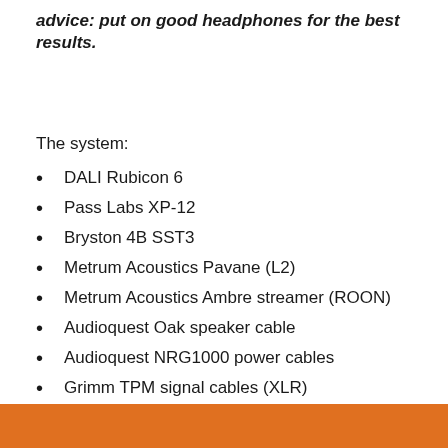advice: put on good headphones for the best results.
The system:
DALI Rubicon 6
Pass Labs XP-12
Bryston 4B SST3
Metrum Acoustics Pavane (L2)
Metrum Acoustics Ambre streamer (ROON)
Audioquest Oak speaker cable
Audioquest NRG1000 power cables
Grimm TPM signal cables (XLR)
Isatok Titan EVO2